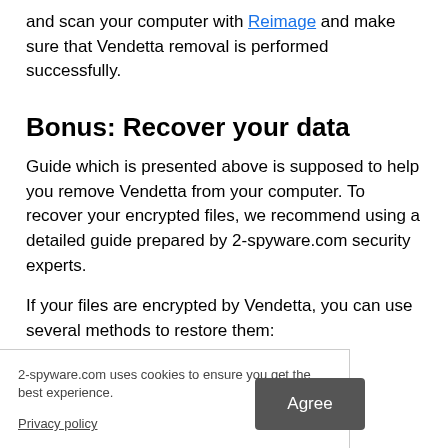and scan your computer with Reimage and make sure that Vendetta removal is performed successfully.
Bonus: Recover your data
Guide which is presented above is supposed to help you remove Vendetta from your computer. To recover your encrypted files, we recommend using a detailed guide prepared by 2-spyware.com security experts.
If your files are encrypted by Vendetta, you can use several methods to restore them:
2-spyware.com uses cookies to ensure you get the best experience.
Privacy policy
Agree